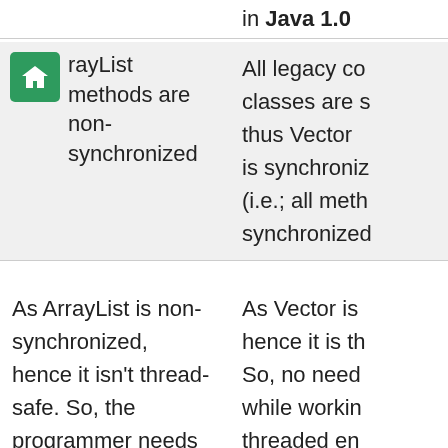in Java 1.0
All legacy co classes are s thus Vector is synchroniz (i.e.; all meth synchronized
ArrayList methods are non-synchronized
As Vector is hence it is th So, no need while workin threaded en only one thr
As ArrayList is non-synchronized, hence it isn't thread-safe. So, the programmer needs to handle thread-safety while working in a multi-threaded environment